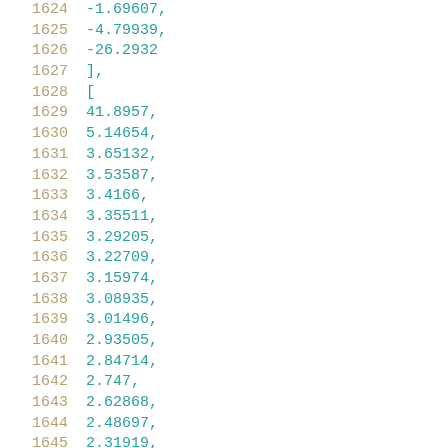Code listing lines 1624-1645 showing numeric array data:
1624: -1.69607,
1625: -4.79939,
1626: -26.2932
1627: ],
1628: [
1629: 41.8957,
1630: 5.14654,
1631: 3.65132,
1632: 3.53587,
1633: 3.4166,
1634: 3.35511,
1635: 3.29205,
1636: 3.22709,
1637: 3.15974,
1638: 3.08935,
1639: 3.01496,
1640: 2.93505,
1641: 2.84714,
1642: 2.747,
1643: 2.62868,
1644: 2.48697,
1645: 2.31919,